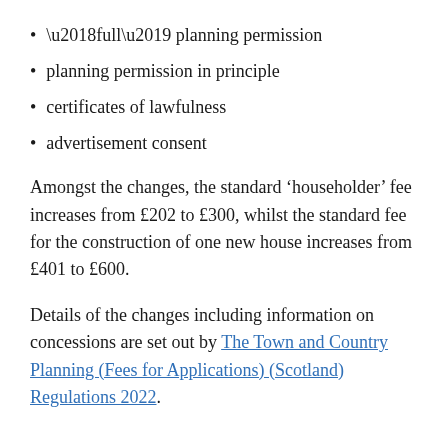‘full’ planning permission
planning permission in principle
certificates of lawfulness
advertisement consent
Amongst the changes, the standard ‘householder’ fee increases from £202 to £300, whilst the standard fee for the construction of one new house increases from £401 to £600.
Details of the changes including information on concessions are set out by The Town and Country Planning (Fees for Applications) (Scotland) Regulations 2022.